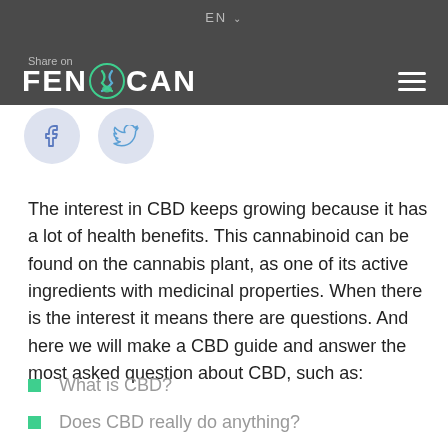EN
[Figure (logo): FENOCAN logo with stylized DNA/leaf icon between FEN and CAN text, on dark gray header bar]
[Figure (infographic): Facebook and Twitter share buttons as circular icons]
The interest in CBD keeps growing because it has a lot of health benefits. This cannabinoid can be found on the cannabis plant, as one of its active ingredients with medicinal properties. When there is the interest it means there are questions. And here we will make a CBD guide and answer the most asked question about CBD, such as:
What is CBD?
Does CBD really do anything?